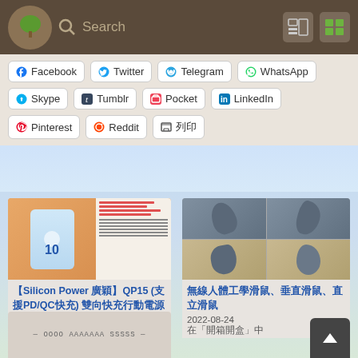[Figure (screenshot): Website navigation bar with tree logo, search bar, and layout toggle icons on dark brown background]
[Figure (screenshot): Social sharing buttons: Facebook, Twitter, Telegram, WhatsApp, Skype, Tumblr, Pocket, LinkedIn, Pinterest, Reddit, 列印]
[Figure (photo): Product photo of Silicon Power QP15 power bank box in orange packaging]
【Silicon Power 廣穎】QP15 (支援PD/QC快充) 雙向快充行動電源 10000mAh (皓月白)
2022-06-11
在「開箱開盒」中
[Figure (photo): Product photos of wireless ergonomic vertical mouse from multiple angles, grey/blue color]
無線人體工學滑鼠、垂直滑鼠、直立滑鼠
2022-08-24
在「開箱開盒」中
[Figure (photo): Partial product photo at bottom of page, partially cropped]